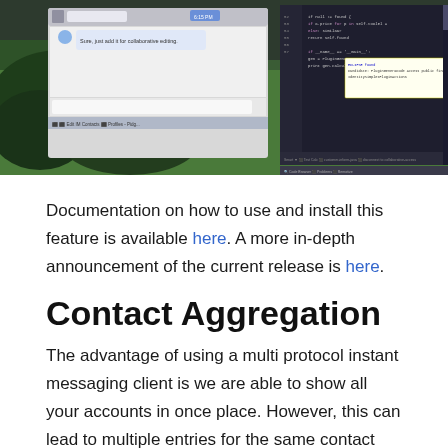[Figure (screenshot): Screenshot of a software development environment showing a chat/collaboration window on the left and a code editor with Java-like code on the right, with a forested background visible.]
Documentation on how to use and install this feature is available here. A more in-depth announcement of the current release is here.
Contact Aggregation
The advantage of using a multi protocol instant messaging client is we are able to show all your accounts in once place. However, this can lead to multiple entries for the same contact across different services.
We are now able to join multiple contacts